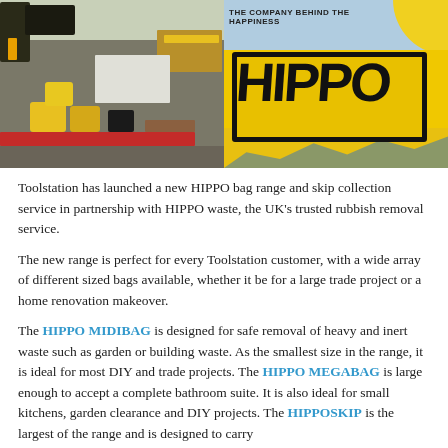[Figure (photo): Left half: aerial view of a construction site with yellow HIPPO waste bags, red barriers, lumber, and workers. Right half: close-up of a bright yellow HIPPO branded truck/vehicle with bold black HIPPO lettering.]
Toolstation has launched a new HIPPO bag range and skip collection service in partnership with HIPPO waste, the UK's trusted rubbish removal service.
The new range is perfect for every Toolstation customer, with a wide array of different sized bags available, whether it be for a large trade project or a home renovation makeover.
The HIPPO MIDIBAG is designed for safe removal of heavy and inert waste such as garden or building waste. As the smallest size in the range, it is ideal for most DIY and trade projects. The HIPPO MEGABAG is large enough to accept a complete bathroom suite. It is also ideal for small kitchens, garden clearance and DIY projects. The HIPPOSKIP is the largest of the range and is designed to carry